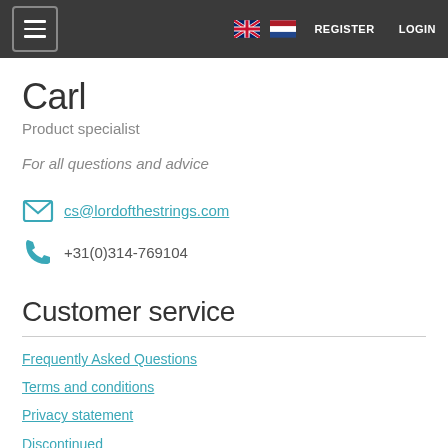REGISTER LOGIN
Carl
Product specialist
For all questions and advice
cs@lordofthestrings.com
+31(0)314-769104
Customer service
Frequently Asked Questions
Terms and conditions
Privacy statement
Discontinued
Contact